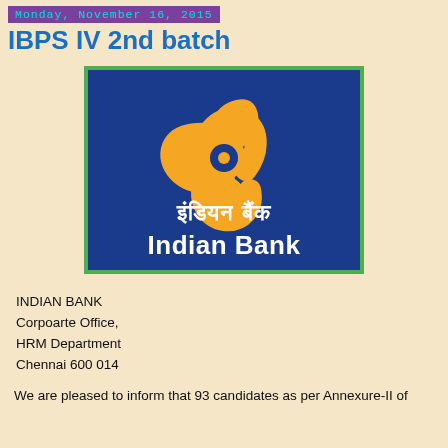Monday, November 16, 2015
IBPS IV 2nd batch
[Figure (logo): Indian Bank logo: blue rectangle with green border, gold/orange interlocking arrow symbol, text in Hindi 'इंडियन बैंक' and English 'Indian Bank' in white on blue background]
INDIAN BANK
Corpoarte Office,
HRM Department
Chennai 600 014
We are pleased to inform that 93 candidates as per Annexure-II of